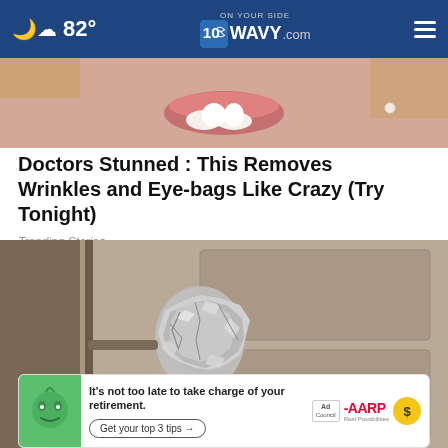82° | WAVY.com | ON YOUR SIDE
[Figure (photo): Cropped close-up of a smiling blonde woman's face (lips and lower face visible), wearing pearl earrings.]
Doctors Stunned : This Removes Wrinkles and Eye-bags Like Crazy (Try Tonight)
Trending Stories
[Figure (photo): Close-up photo of a door knob wrapped in crumpled aluminum foil, set against a wooden door.]
[Figure (infographic): AARP advertisement banner: 'It's not too late to take charge of your retirement. Get your top 3 tips →' with Ad Council logo and AARP logo and a yellow sun/dollar icon, alongside a green cartoon face mascot.]